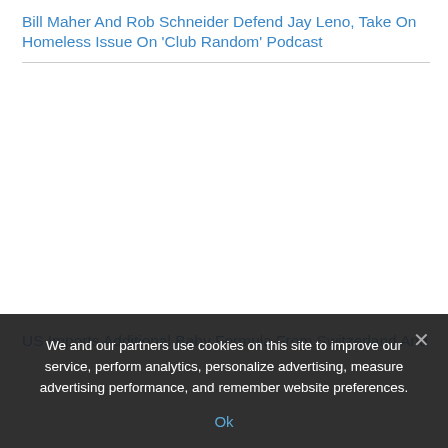Bill Maher And Rob Schneider Defend Jay Leno, Take On Homeless Issue On 'Club Random' Podcast
[Figure (photo): Large image placeholder area (white/blank) associated with the article about Bill Maher and Rob Schneider]
US Imports Additional Baby Formula From Switzerland And
We and our partners use cookies on this site to improve our service, perform analytics, personalize advertising, measure advertising performance, and remember website preferences.
Ok